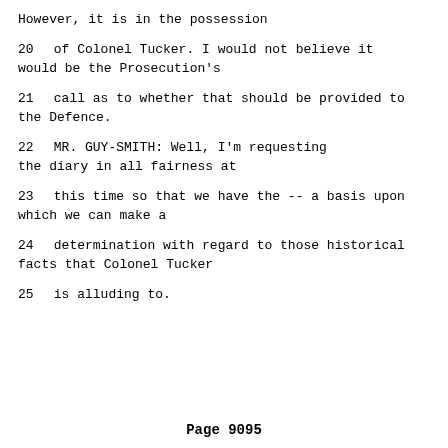However, it is in the possession
20     of Colonel Tucker.  I would not believe it would be the Prosecution's
21     call as to whether that should be provided to the Defence.
22          MR. GUY-SMITH:  Well, I'm requesting the diary in all fairness at
23     this time so that we have the -- a basis upon which we can make a
24     determination with regard to those historical facts that Colonel Tucker
25     is alluding to.
Page 9095